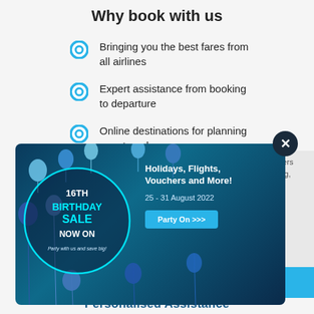Why book with us
Bringing you the best fares from all airlines
Expert assistance from booking to departure
Online destinations for planning your travels
[Figure (infographic): 16th Birthday Sale promotional popup banner with blue gradient background, balloons, circular neon badge reading '16TH BIRTHDAY SALE NOW ON', text 'Party with us and save big!', right side says 'Holidays, Flights, Vouchers and More! 25 - 31 August 2022', Party On >>> button, and X close button]
Personalised Assistance